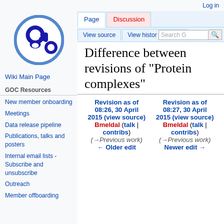Log in
[Figure (logo): Gene Ontology Consortium logo — blue circle with stylized 'go' letters in dark blue]
Wiki Main Page
GOC Resources
New member onboarding
Meetings
Data release pipeline
Publications, talks and posters
Internal email lists - Subscribe and unsubscribe
Outreach
Member offboarding
Page | Discussion | View source | View histor | More | Search G
Difference between revisions of "Protein complexes"
| Revision as of 08:26, 30 April 2015 (view source) | Revision as of 08:27, 30 April 2015 (view source) |
| --- | --- |
| Bmeldal (talk | contribs) | Bmeldal (talk | contribs) |
| (→Previous work) | (→Previous work) |
| ← Older edit | Newer edit → |